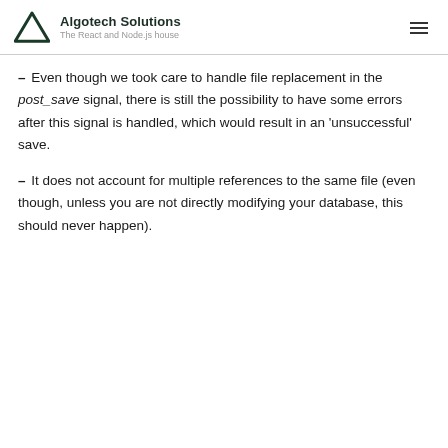Algotech Solutions — The React and Node.js house
– Even though we took care to handle file replacement in the post_save signal, there is still the possibility to have some errors after this signal is handled, which would result in an 'unsuccessful' save.
– It does not account for multiple references to the same file (even though, unless you are not directly modifying your database, this should never happen).